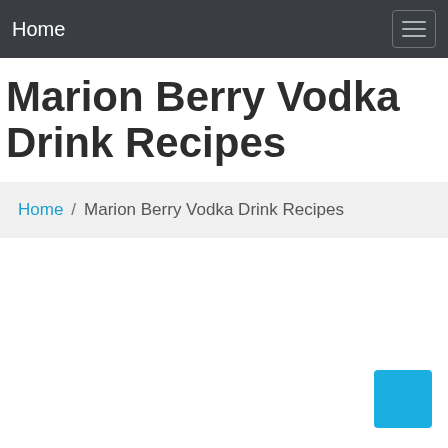Home
Marion Berry Vodka Drink Recipes
Home / Marion Berry Vodka Drink Recipes